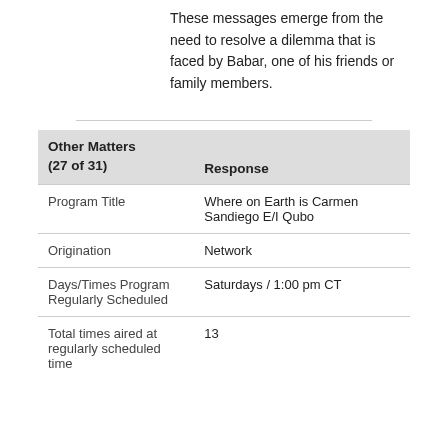These messages emerge from the need to resolve a dilemma that is faced by Babar, one of his friends or family members.
| Other Matters (27 of 31) | Response |
| --- | --- |
| Program Title | Where on Earth is Carmen Sandiego E/I Qubo |
| Origination | Network |
| Days/Times Program Regularly Scheduled | Saturdays / 1:00 pm CT |
| Total times aired at regularly scheduled time | 13 |